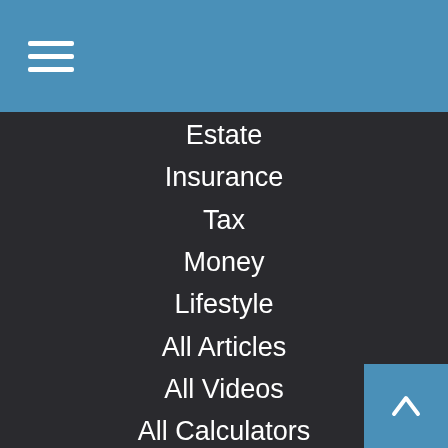Navigation menu header with hamburger icon
Estate
Insurance
Tax
Money
Lifestyle
All Articles
All Videos
All Calculators
All Presentations
Check the background of your financial professional on FINRA's BrokerCheck.
The content is developed from sources believed to be providing accurate information. The information in this material is not intended as tax or legal advice. Please consult legal or tax professionals for specific information